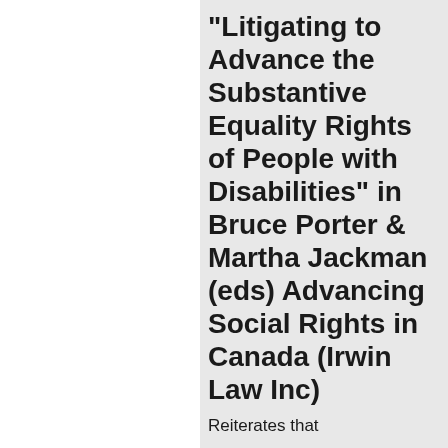"Litigating to Advance the Substantive Equality Rights of People with Disabilities" in Bruce Porter & Martha Jackman (eds) Advancing Social Rights in Canada (Irwin Law Inc)
Reiterates that